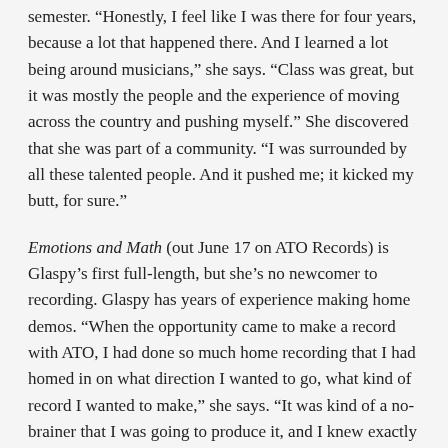semester. “Honestly, I feel like I was there for four years, because a lot that happened there. And I learned a lot being around musicians,” she says. “Class was great, but it was mostly the people and the experience of moving across the country and pushing myself.” She discovered that she was part of a community. “I was surrounded by all these talented people. And it pushed me; it kicked my butt, for sure.”
Emotions and Math (out June 17 on ATO Records) is Glaspy’s first full-length, but she’s no newcomer to recording. Glaspy has years of experience making home demos. “When the opportunity came to make a record with ATO, I had done so much home recording that I had homed in on what direction I wanted to go, what kind of record I wanted to make,” she says. “It was kind of a no-brainer that I was going to produce it, and I knew exactly how I wanted to do it. Most of the production techniques have just come from trial and error, working at home a lot, a lot, a lot.”
Margaret Glaspy has toured as a vocalist with many other